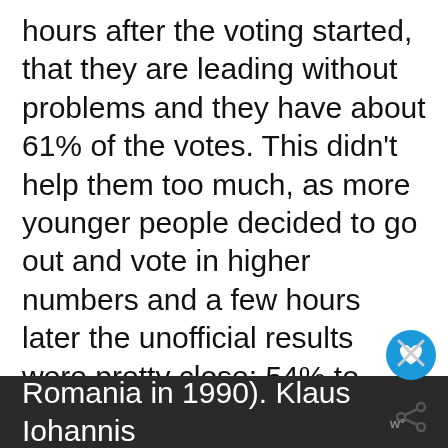hours after the voting started, that they are leading without problems and they have about 61% of the votes. This didn't help them too much, as more younger people decided to go out and vote in higher numbers and a few hours later the unofficial results were pretty close: 54% to 46% for Ponta.

Eventually, the elections ended and Romania had a record presence at the voting booths, with a bit over 63% of the population casting the vote (the best presence since the first free elections in Romania in 1990). Klaus Iohannis